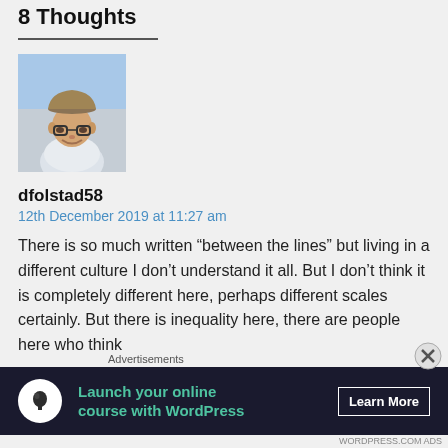8 Thoughts
[Figure (photo): Avatar photo of user dfolstad58 — a man wearing a cap and glasses, outdoors at what appears to be a stadium]
dfolstad58
12th December 2019 at 11:27 am
There is so much written “between the lines” but living in a different culture I don’t understand it all. But I don’t think it is completely different here, perhaps different scales certainly. But there is inequality here, there are people here who think
[Figure (other): Advertisement banner: dark background with tree/person icon in white circle, green text 'Launch your online course with WordPress', white 'Learn More' button]
Advertisements